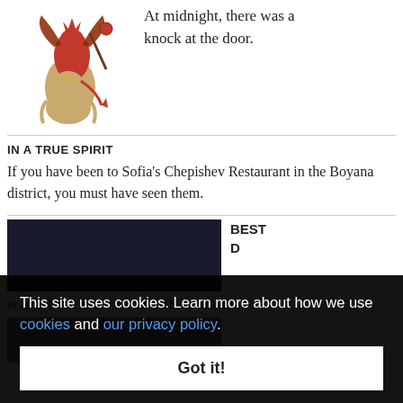[Figure (illustration): Medieval illustration of a red demon figure riding on a creature, holding a staff, with wings]
At midnight, there was a knock at the door.
IN A TRUE SPIRIT
If you have been to Sofia's Chepishev Restaurant in the Boyana district, you must have seen them.
This site uses cookies. Learn more about how we use cookies and our privacy policy.
Got it!
BEST
D
er large home means that after 18 months in